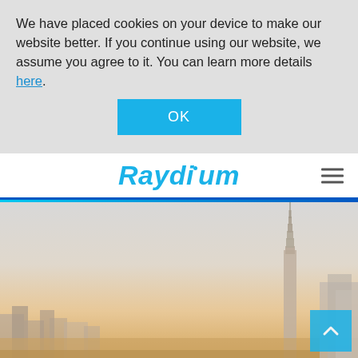We have placed cookies on your device to make our website better. If you continue using our website, we assume you agree to it. You can learn more details here.
OK
[Figure (logo): Raydium company logo in italic bold blue text with a small dot above the letter i, and a hamburger menu icon on the right]
[Figure (photo): Hero image showing a cityscape with Taipei 101 skyscraper visible on the right side against a hazy sky with warm tones at the bottom]